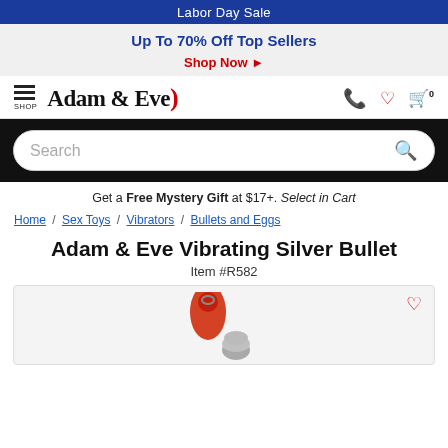Labor Day Sale
Up To 70% Off Top Sellers
Shop Now ▶
Adam & Eve — navigation bar with hamburger menu, logo, phone, wishlist, cart icons
Search
Get a Free Mystery Gift at $17+. Select in Cart
Home / Sex Toys / Vibrators / Bullets and Eggs
Adam & Eve Vibrating Silver Bullet
Item #R582
[Figure (photo): Product image placeholder showing a red and silver bullet vibrator against a light background with a heart/wishlist icon in top right corner]